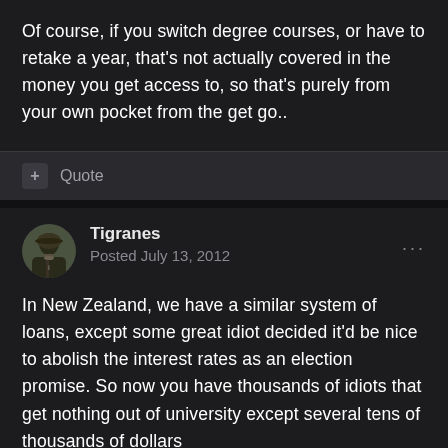Of course, if you switch degree courses, or have to retake a year, that's not actually covered in the money you get access to, so that's purely from your own pocket from the get go..
+ Quote
Tigranes
Posted July 13, 2012
In New Zealand, we have a similar system of loans, except some great idiot decided it'd be nice to abolish the interest rates as an election promise. So now you have thousands of idiots that get nothing out of university except several tens of thousands of dollars